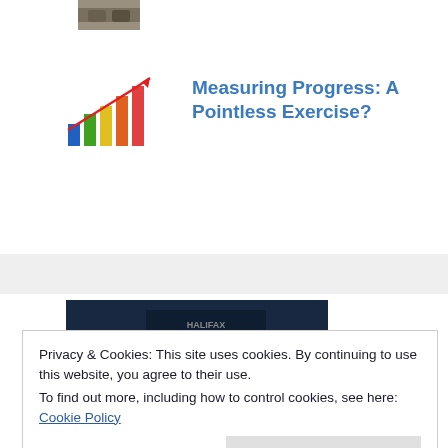[Figure (photo): Small thumbnail photo of people at the top of the page]
[Figure (illustration): Colorful bar chart icon with upward red arrow, showing multicolored bars (blue, green, yellow, orange, red)]
Measuring Progress: A Pointless Exercise?
[Figure (photo): Dark blue book cover showing 'The Halifax Slasher' and 'Sherlock Holmes' and 'Ian Rankin' thriller book covers]
Privacy & Cookies: This site uses cookies. By continuing to use this website, you agree to their use.
To find out more, including how to control cookies, see here:
Cookie Policy
Close and accept